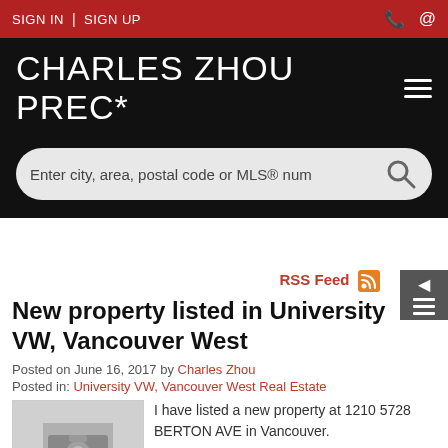SIGN IN | SIGN UP
CHARLES ZHOU PREC*
Enter city, area, postal code or MLS® num
RSS Feed
New property listed in University VW, Vancouver West
Posted on June 16, 2017 by Charles Zhou
Posted in: University VW, Vancouver West Real Estate
I have listed a new property at 1210 5728 BERTON AVE in Vancouver.
See details here